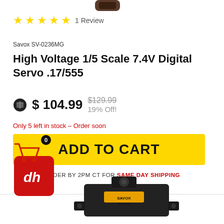[Figure (photo): Product photo of Savox servo (partial, top-cropped) on white background]
★★★★★ 1 Review
Savox SV-0236MG
High Voltage 1/5 Scale 7.4V Digital Servo .17/555
$ 104.99  $129.99  19% Off!
Only 5 left in stock – Order soon
ADD TO CART
ORDER BY 2PM CT FOR SAME DAY SHIPPING
[Figure (photo): Savox SV-1270 servo product image at bottom of page]
[Figure (logo): Red box with stylized dh logo and shopping cart icon with badge showing 0]